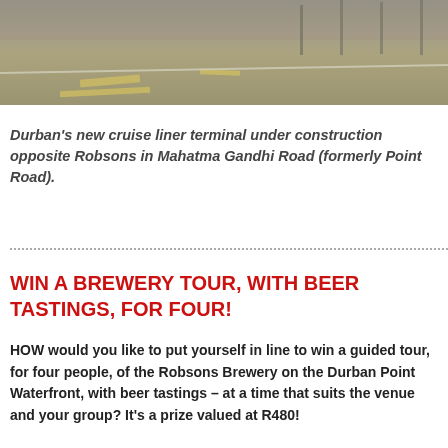[Figure (photo): Durban's new cruise liner terminal under construction, showing a road with yellow markings, fencing, and construction scaffolding in the background.]
Durban's new cruise liner terminal under construction opposite Robsons in Mahatma Gandhi Road (formerly Point Road).
WIN A BREWERY TOUR, WITH BEER TASTINGS, FOR FOUR!
HOW would you like to put yourself in line to win a guided tour, for four people, of the Robsons Brewery on the Durban Point Waterfront, with beer tastings – at a time that suits the venue and your group? It's a prize valued at R480!